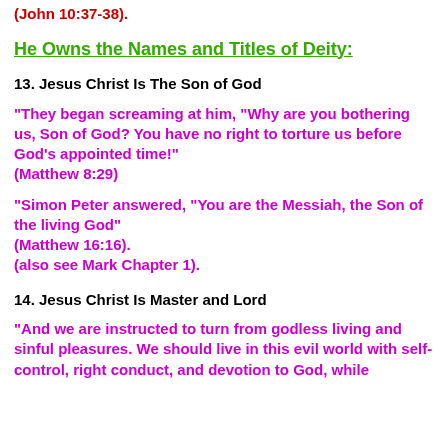(John 10:37-38).
He Owns the Names and Titles of Deity:
13. Jesus Christ Is The Son of God
"They began screaming at him, "Why are you bothering us, Son of God? You have no right to torture us before God's appointed time!" (Matthew 8:29)
"Simon Peter answered, "You are the Messiah, the Son of the living God" (Matthew 16:16). (also see Mark Chapter 1).
14. Jesus Christ Is Master and Lord
"And we are instructed to turn from godless living and sinful pleasures. We should live in this evil world with self-control, right conduct, and devotion to God, while